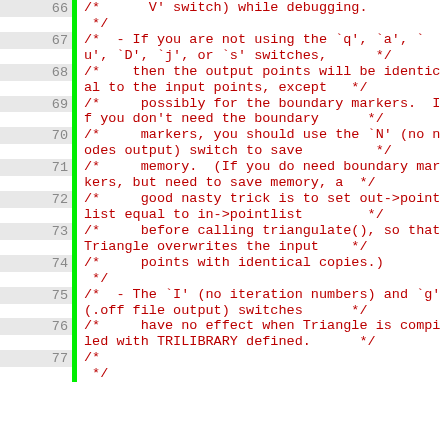Code listing lines 66-77, C source file comments about Triangle library switches and memory usage.